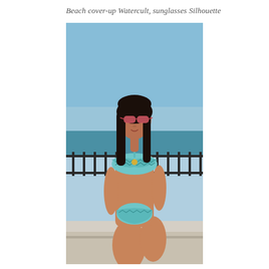Beach cover-up Watercult, sunglasses Silhouette
[Figure (photo): A woman wearing a teal chevron-patterned bikini and pink sunglasses, posed on a stone ledge with a metal railing and ocean horizon behind her.]